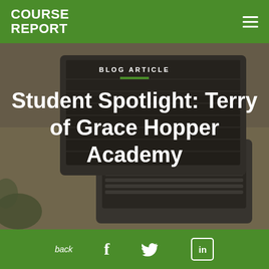COURSE REPORT
[Figure (screenshot): Hero banner image showing a laptop on a wooden desk with overlay text 'BLOG ARTICLE' and 'Student Spotlight: Terry of Grace Hopper Academy']
Student Spotlight: Terry of Grace Hopper Academy
[Figure (infographic): Green navigation toolbar with 'back' link and social media icons for Facebook, Twitter, and LinkedIn]
By Imogen Crispe
Last Updated March 23, 2016
[Figure (photo): Partial photo of a woman with blonde hair, presumably Terry from Grace Hopper Academy]